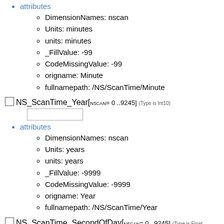attributes
DimensionNames: nscan
Units: minutes
units: minutes
_FillValue: -99
CodeMissingValue: -99
origname: Minute
fullnamepath: /NS/ScanTime/Minute
NS_ScanTime_Year[ nscan= 0 ..9245] (Type is Int10)
attributes
DimensionNames: nscan
Units: years
units: years
_FillValue: -9999
CodeMissingValue: -9999
origname: Year
fullnamepath: /NS/ScanTime/Year
NS_ScanTime_SecondOfDay[ nscan= 0 ..9245] (Type is Float)
attributes